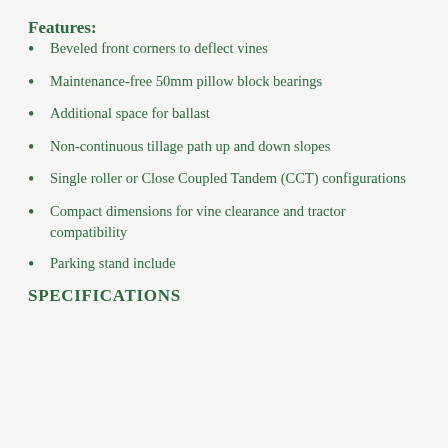Features:
Beveled front corners to deflect vines
Maintenance-free 50mm pillow block bearings
Additional space for ballast
Non-continuous tillage path up and down slopes
Single roller or Close Coupled Tandem (CCT) configurations
Compact dimensions for vine clearance and tractor compatibility
Parking stand include
SPECIFICATIONS